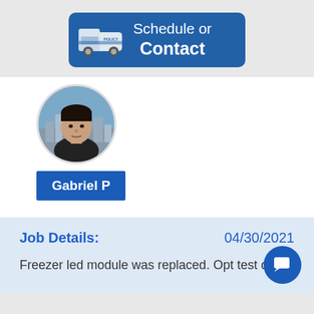[Figure (illustration): Blue button with a van icon and text 'Schedule or Contact']
[Figure (photo): Circular profile photo of a young man named Gabriel P with a city background]
Gabriel P
Job Details: 04/30/2021
Freezer led module was replaced. Opt test ok.